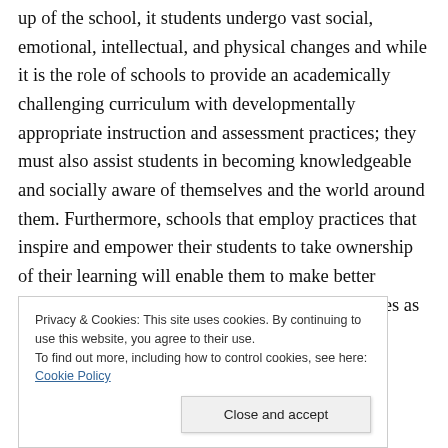up of the school, it students undergo vast social, emotional, intellectual, and physical changes and while it is the role of schools to provide an academically challenging curriculum with developmentally appropriate instruction and assessment practices; they must also assist students in becoming knowledgeable and socially aware of themselves and the world around them. Furthermore, schools that employ practices that inspire and empower their students to take ownership of their learning will enable them to make better decisions about their personal and educational lives as they move into and
Privacy & Cookies: This site uses cookies. By continuing to use this website, you agree to their use. To find out more, including how to control cookies, see here: Cookie Policy
Close and accept